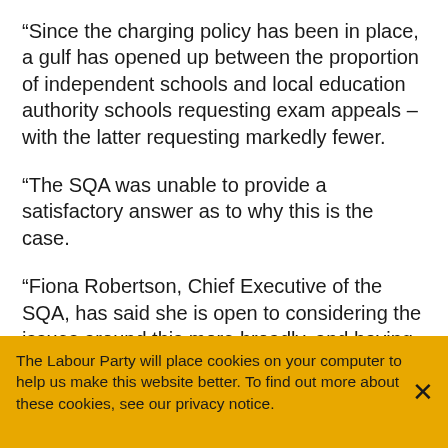“Since the charging policy has been in place, a gulf has opened up between the proportion of independent schools and local education authority schools requesting exam appeals – with the latter requesting markedly fewer.
“The SQA was unable to provide a satisfactory answer as to why this is the case.
“Fiona Robertson, Chief Executive of the SQA, has said she is open to considering the issues around this more broadly, and having conversations with relevant parties.
“However the relevant parties she is talking to are the very ones running this unfair system.
The Labour Party will place cookies on your computer to help us make this website better. To find out more about these cookies, see our privacy notice.